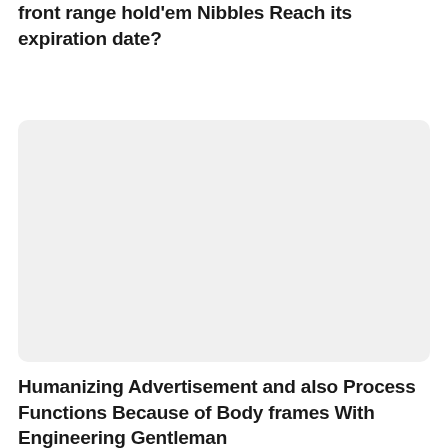front range hold'em Nibbles Reach its expiration date?
[Figure (other): Large light gray rounded rectangle placeholder image area]
Humanizing Advertisement and also Process Functions Because of Body frames With Engineering Gentleman